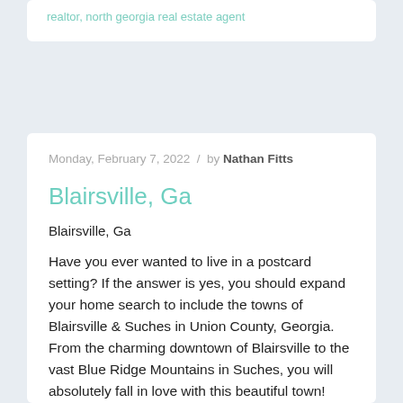realtor, north georgia real estate agent
Monday, February 7, 2022 / by Nathan Fitts
Blairsville, Ga
Blairsville, Ga
Have you ever wanted to live in a postcard setting? If the answer is yes, you should expand your home search to include the towns of Blairsville & Suches in Union County, Georgia. From the charming downtown of Blairsville to the vast Blue Ridge Mountains in Suches, you will absolutely fall in love with this beautiful town!
On the North side of Union County, just minutes to the
READ MORE